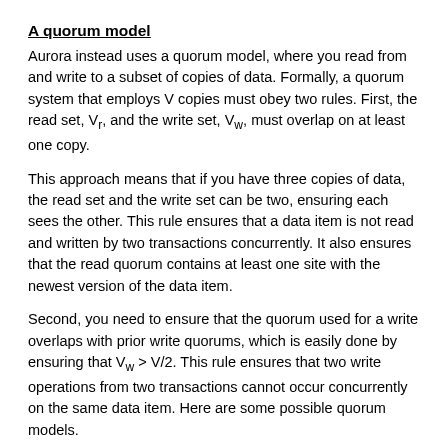A quorum model
Aurora instead uses a quorum model, where you read from and write to a subset of copies of data. Formally, a quorum system that employs V copies must obey two rules. First, the read set, V_r, and the write set, V_w, must overlap on at least one copy.
This approach means that if you have three copies of data, the read set and the write set can be two, ensuring each sees the other. This rule ensures that a data item is not read and written by two transactions concurrently. It also ensures that the read quorum contains at least one site with the newest version of the data item.
Second, you need to ensure that the quorum used for a write overlaps with prior write quorums, which is easily done by ensuring that V_w > V/2. This rule ensures that two write operations from two transactions cannot occur concurrently on the same data item. Here are some possible quorum models.
| V (#copies) | V_w (write quorum) | V_r (read quorum) |
| --- | --- | --- |
| 1 | 1 | 1 |